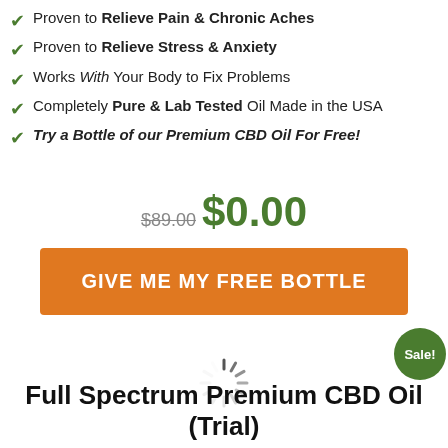Proven to Relieve Pain & Chronic Aches
Proven to Relieve Stress & Anxiety
Works With Your Body to Fix Problems
Completely Pure & Lab Tested Oil Made in the USA
Try a Bottle of our Premium CBD Oil For Free!
$89.00 $0.00
GIVE ME MY FREE BOTTLE
Sale!
[Figure (other): Loading spinner icon]
Full Spectrum Premium CBD Oil (Trial)